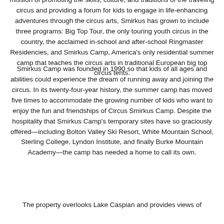mission of promoting the skills, culture, and traditions of the traveling circus and providing a forum for kids to engage in life-enhancing adventures through the circus arts, Smirkus has grown to include three programs: Big Top Tour, the only touring youth circus in the country, the acclaimed in-school and after-school Ringmaster Residencies, and Smirkus Camp, America's only residential summer camp that teaches the circus arts in traditional European big top circus tents.
Smirkus Camp was founded in 1990 so that kids of all ages and abilities could experience the dream of running away and joining the circus. In its twenty-four-year history, the summer camp has moved five times to accommodate the growing number of kids who want to enjoy the fun and friendships of Circus Smirkus Camp. Despite the hospitality that Smirkus Camp's temporary sites have so graciously offered—including Bolton Valley Ski Resort, White Mountain School, Sterling College, Lyndon Institute, and finally Burke Mountain Academy—the camp has needed a home to call its own.
The property overlooks Lake Caspian and provides views of